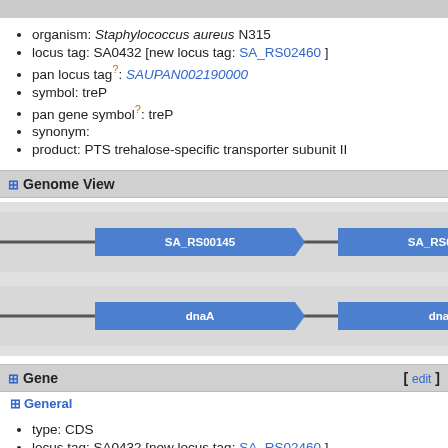organism: Staphylococcus aureus N315
locus tag: SA0432 [new locus tag: SA_RS02460 ]
pan locus tag?: SAUPAN002190000
symbol: treP
pan gene symbol?: treP
synonym:
product: PTS trehalose-specific transporter subunit II
Genome View
[Figure (other): Genome view diagram showing two rows of gene arrows. Top row: SA_RS00145 and SA_RS00150 gene arrows pointing right. Bottom row: dnaA and dnaN gene arrows pointing right.]
Gene
General
type: CDS
locus tag: SA0432 [new locus tag: SA_RS02460 ]